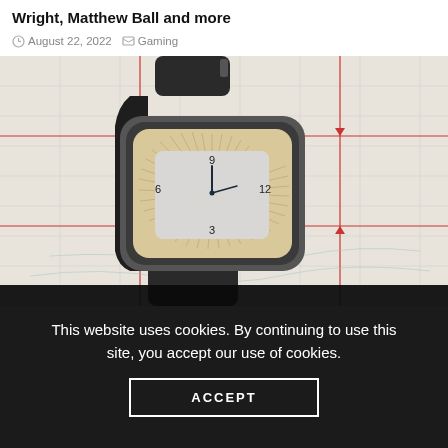Wright, Matthew Ball and more
August 22, 2022   Gaming
[Figure (photo): A square-faced wristwatch with a black rubber strap and gold/cream sunburst dial face showing numbers 3, 6, 9, 12, placed on a map with red grid lines.]
This website uses cookies. By continuing to use this site, you accept our use of cookies.
ACCEPT